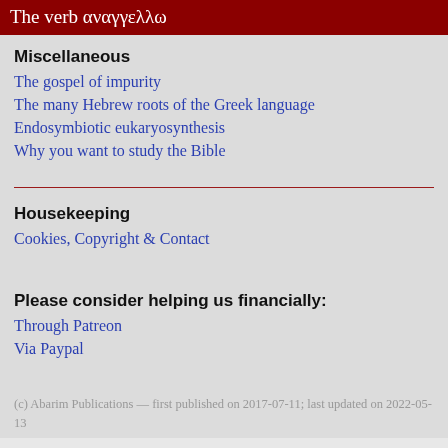The verb αναγγελλω
Miscellaneous
The gospel of impurity
The many Hebrew roots of the Greek language
Endosymbiotic eukaryosynthesis
Why you want to study the Bible
Housekeeping
Cookies, Copyright & Contact
Please consider helping us financially:
Through Patreon
Via Paypal
(c) Abarim Publications — first published on 2017-07-11; last updated on 2022-05-13